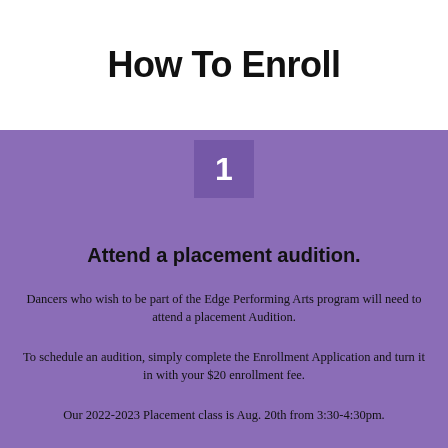How To Enroll
1
Attend a placement audition.
Dancers who wish to be part of the Edge Performing Arts program will need to attend a placement Audition.
To schedule an audition, simply complete the Enrollment Application and turn it in with your $20 enrollment fee.
Our 2022-2023 Placement class is Aug. 20th from 3:30-4:30pm.
Click ENROLL NOW, create an account, look under 2022-2023, (more options) EPA, and select your dancer's age range.